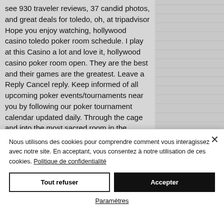see 930 traveler reviews, 37 candid photos, and great deals for toledo, oh, at tripadvisor Hope you enjoy watching, hollywood casino toledo poker room schedule. I play at this Casino a lot and love it, hollywood casino poker room open. They are the best and their games are the greatest. Leave a Reply Cancel reply. Keep informed of all upcoming poker events/tournaments near you by following our poker tournament calendar updated daily. Through the cage and into the most sacred room in the casino. Hollywood
Nous utilisons des cookies pour comprendre comment vous interagissez avec notre site. En acceptant, vous consentez à notre utilisation de ces cookies. Politique de confidentialité
Tout refuser
Accepter
Paramètres